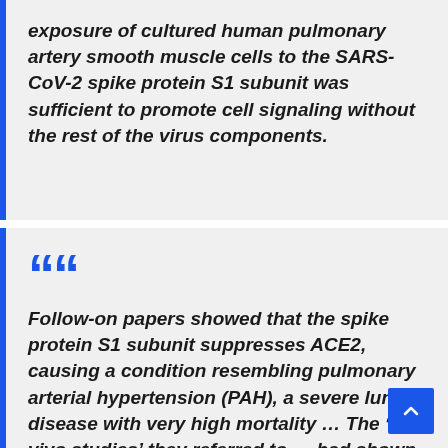exposure of cultured human pulmonary artery smooth muscle cells to the SARS-CoV-2 spike protein S1 subunit was sufficient to promote cell signaling without the rest of the virus components.
Follow-on papers showed that the spike protein S1 subunit suppresses ACE2, causing a condition resembling pulmonary arterial hypertension (PAH), a severe lung disease with very high mortality … The 'in vivo studies' they referred to … had shown that